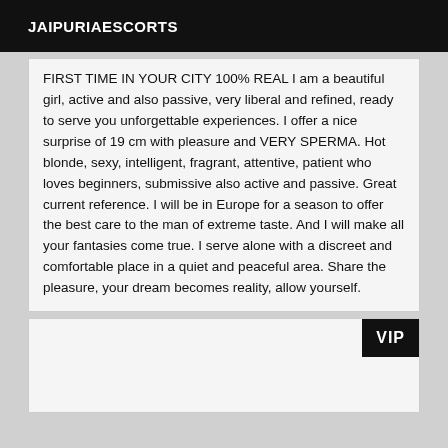JAIPURIAESCORTS
FIRST TIME IN YOUR CITY 100% REAL I am a beautiful girl, active and also passive, very liberal and refined, ready to serve you unforgettable experiences. I offer a nice surprise of 19 cm with pleasure and VERY SPERMA. Hot blonde, sexy, intelligent, fragrant, attentive, patient who loves beginners, submissive also active and passive. Great current reference. I will be in Europe for a season to offer the best care to the man of extreme taste. And I will make all your fantasies come true. I serve alone with a discreet and comfortable place in a quiet and peaceful area. Share the pleasure, your dream becomes reality, allow yourself.
[Figure (other): VIP listing card placeholder with VIP badge in top-right corner]